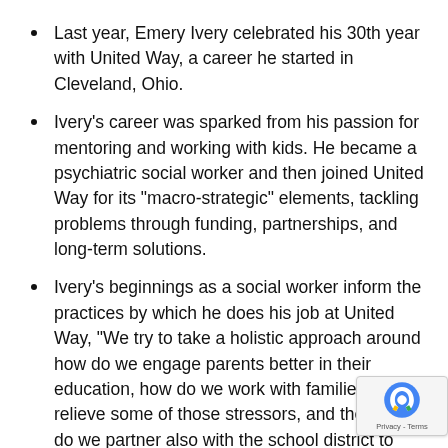Last year, Emery Ivery celebrated his 30th year with United Way, a career he started in Cleveland, Ohio.
Ivery's career was sparked from his passion for mentoring and working with kids. He became a psychiatric social worker and then joined United Way for its "macro-strategic" elements, tackling problems through funding, partnerships, and long-term solutions.
Ivery's beginnings as a social worker inform the practices by which he does his job at United Way, "We try to take a holistic approach around how do we engage parents better in their education, how do we work with families to relieve some of those stressors, and then how do we partner also with the school district to make sure that they have the community support that they need in order to make sure that kids are successful in school.